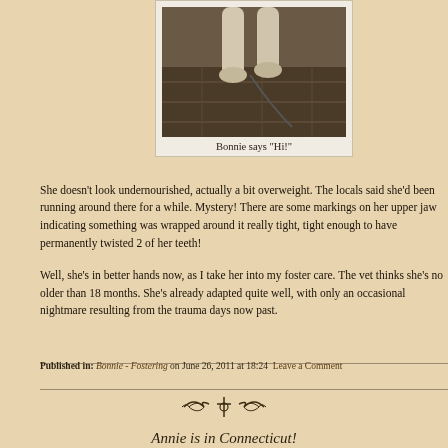[Figure (photo): Dog photo — legs and paws visible on wooden floor, leash visible]
Bonnie says "Hi!"
She doesn't look undernourished, actually a bit overweight. The locals said she'd been running around there for a while. Mystery! There are some markings on her upper jaw indicating something was wrapped around it really tight, tight enough to have permanently twisted 2 of her teeth!
Well, she's in better hands now, as I take her into my foster care. The vet thinks she's no older than 18 months. She's already adapted quite well, with only an occasional nightmare resulting from the trauma days now past.
Published in: Bonnie - Fostering on June 26, 2011 at 18:24  Leave a Comment
[Figure (illustration): Decorative ornamental divider]
Annie is in Connecticut!